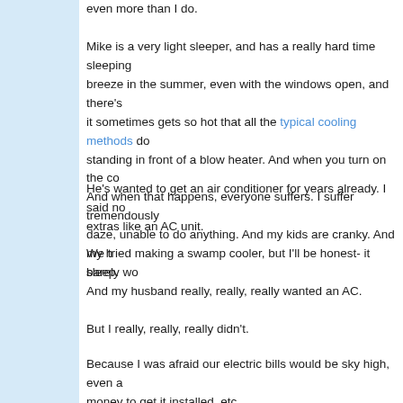even more than I do.
Mike is a very light sleeper, and has a really hard time sleeping breeze in the summer, even with the windows open, and there's it sometimes gets so hot that all the typical cooling methods do standing in front of a blow heater. And when you turn on the co And when that happens, everyone suffers. I suffer tremendously daze, unable to do anything. And my kids are cranky. And my h sleep.
He's wanted to get an air conditioner for years already. I said no extras like an AC unit.
We tried making a swamp cooler, but I'll be honest- it barely wo
And my husband really, really, really wanted an AC.
But I really, really, really didn't.
Because I was afraid our electric bills would be sky high, even a money to get it installed, etc...
Then I spoke to some frugal minded friends locally who did hav the time. And fortunately, her electric bill didn't get so high in the